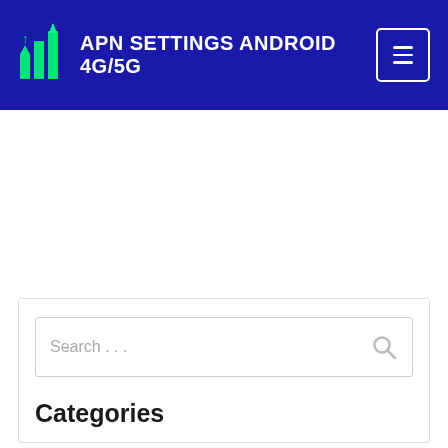APN SETTINGS ANDROID 4G/5G
[Figure (screenshot): White advertisement/blank area below the header]
Search . . .
Categories